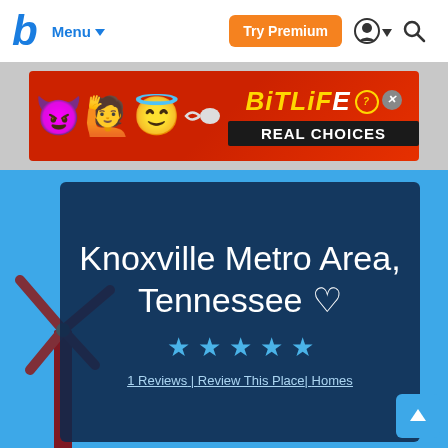b  Menu ▾  Try Premium  🔍
[Figure (screenshot): BitLife advertisement banner — red background with emoji characters (devil, girl, angel), BitLife logo in yellow, 'REAL CHOICES' text on dark background]
Knoxville Metro Area, Tennessee ♡
[Figure (infographic): Five blue star rating icons]
1 Reviews | Review This Place| Homes